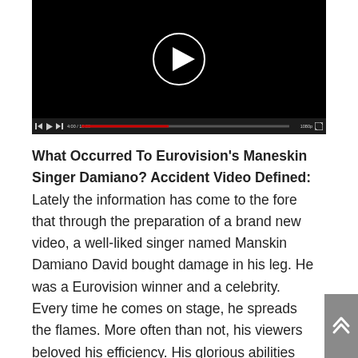[Figure (screenshot): Video player with black background showing a play button (circle with triangle). Controls bar at bottom shows skip/play/skip buttons, progress bar with red fill at ~42%, timestamp '4:00/10:00', quality '1080p', and fullscreen icon.]
What Occurred To Eurovision's Maneskin Singer Damiano? Accident Video Defined: Lately the information has come to the fore that through the preparation of a brand new video, a well-liked singer named Manskin Damiano David bought damage in his leg. He was a Eurovision winner and a celebrity. Every time he comes on stage, he spreads the flames. More often than not, his viewers beloved his efficiency. His glorious abilities make him distinctive